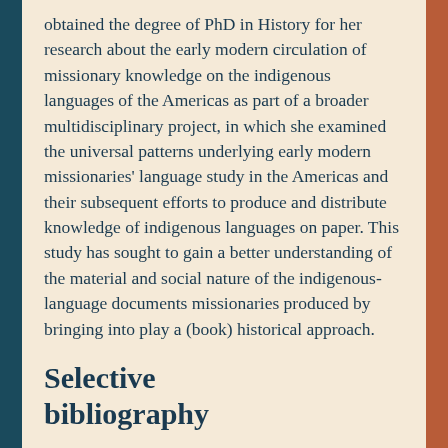obtained the degree of PhD in History for her research about the early modern circulation of missionary knowledge on the indigenous languages of the Americas as part of a broader multidisciplinary project, in which she examined the universal patterns underlying early modern missionaries' language study in the Americas and their subsequent efforts to produce and distribute knowledge of indigenous languages on paper. This study has sought to gain a better understanding of the material and social nature of the indigenous-language documents missionaries produced by bringing into play a (book) historical approach.
Selective bibliography
Van Hal, Toon, Andy Peetermans, and